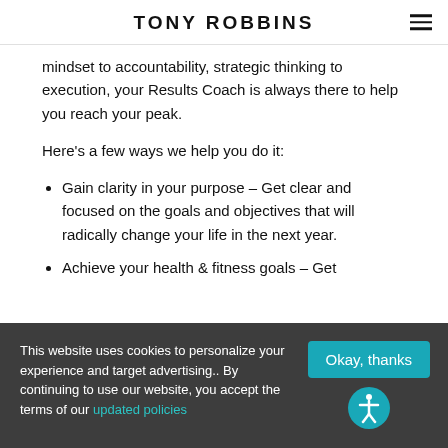TONY ROBBINS
mindset to accountability, strategic thinking to execution, your Results Coach is always there to help you reach your peak.
Here's a few ways we help you do it:
Gain clarity in your purpose – Get clear and focused on the goals and objectives that will radically change your life in the next year.
Achieve your health & fitness goals – Get
This website uses cookies to personalize your experience and target advertising.. By continuing to use our website, you accept the terms of our updated policies